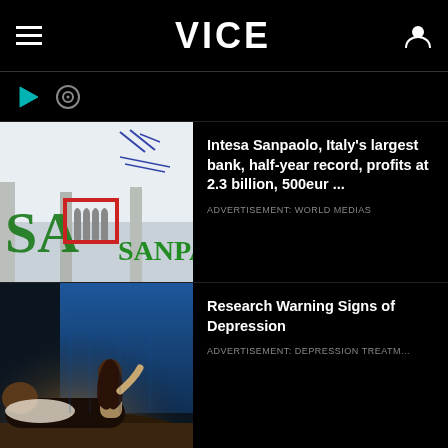VICE
[Figure (screenshot): VICE website mobile screenshot showing navigation header with hamburger menu, VICE logo, and user icon]
[Figure (photo): Intesa Sanpaolo bank signage photo showing blue SA and SANPAO letters with red-framed arch logo]
Intesa Sanpaolo, Italy's largest bank, half-year record, profits at 2.3 billion, 500eur ...
ADVERTISEMENT: WORLD MEDIAS
[Figure (photo): Photo of a woman sitting up in bed at night with blue backlit wall, a man sleeping beside her, warm lighting]
Research Warning Signs of Depression
ADVERTISEMENT: DEPRESSION TREATM...